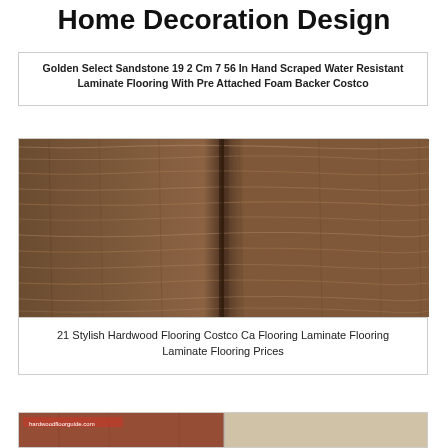Home Decoration Design
Golden Select Sandstone 19 2 Cm 7 56 In Hand Scraped Water Resistant Laminate Flooring With Pre Attached Foam Backer Costco
[Figure (photo): Close-up photo of brown wood grain laminate flooring with visible plank seam]
21 Stylish Hardwood Flooring Costco Ca Flooring Laminate Flooring Laminate Flooring Prices
[Figure (photo): Partial image of another flooring product at the bottom, partially cut off]